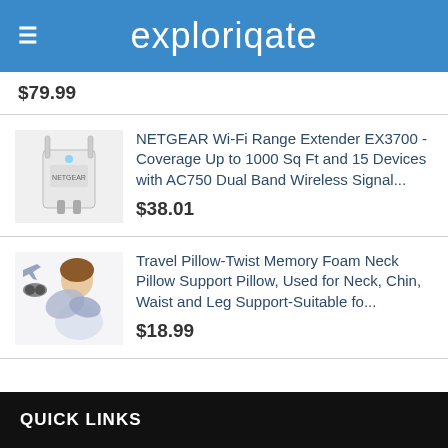exploriqate
$79.99
NETGEAR Wi-Fi Range Extender EX3700 - Coverage Up to 1000 Sq Ft and 15 Devices with AC750 Dual Band Wireless Signal...
$38.01
Travel Pillow-Twist Memory Foam Neck Pillow Support Pillow, Used for Neck, Chin, Waist and Leg Support-Suitable fo...
$18.99
QUICK LINKS